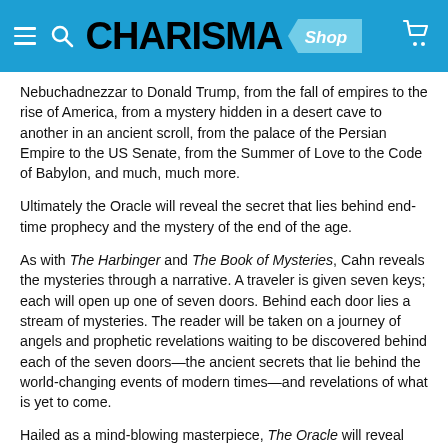CHARISMA Shop
Nebuchadnezzar to Donald Trump, from the fall of empires to the rise of America, from a mystery hidden in a desert cave to another in an ancient scroll, from the palace of the Persian Empire to the US Senate, from the Summer of Love to the Code of Babylon, and much, much more.
Ultimately the Oracle will reveal the secret that lies behind end-time prophecy and the mystery of the end of the age.
As with The Harbinger and The Book of Mysteries, Cahn reveals the mysteries through a narrative. A traveler is given seven keys; each will open up one of seven doors. Behind each door lies a stream of mysteries. The reader will be taken on a journey of angels and prophetic revelations waiting to be discovered behind each of the seven doors—the ancient secrets that lie behind the world-changing events of modern times—and revelations of what is yet to come.
Hailed as a mind-blowing masterpiece, The Oracle will reveal mysteries that are absolutely real, amazing, stunning, mind-blowing, and life-changing. Prepare to be blown away.